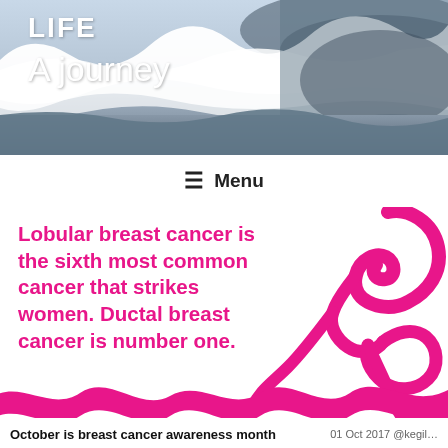[Figure (photo): Website header banner with ocean waves crashing, white water and blue-grey sea tones]
LIFE
A journey
≡ Menu
Lobular breast cancer is the sixth most common cancer that strikes women. Ductal breast cancer is number one.
[Figure (illustration): Pink breast cancer awareness ribbon, large decorative loop at top right and wavy ribbon at bottom of image]
October is breast cancer awareness month
01 Oct 2017 @kegil…